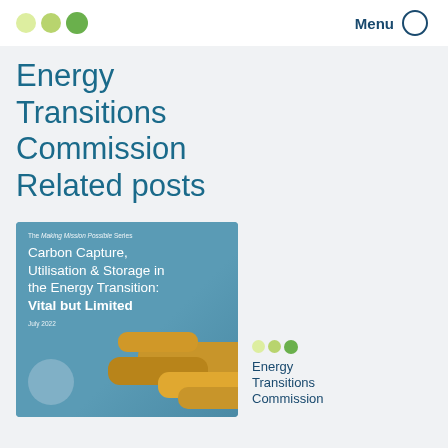Energy Transitions Commission
Energy Transitions Commission
Related posts
[Figure (illustration): Cover of report titled 'Carbon Capture, Utilisation & Storage in the Energy Transition: Vital but Limited', July 2022, from The Making Mission Possible Series. Blue background with industrial pipes/imagery.]
Energy Transitions Commission